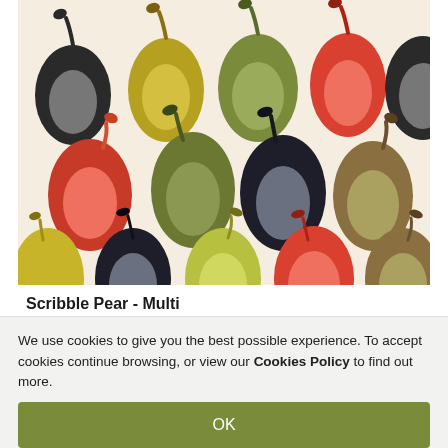[Figure (illustration): Colorful repeating pattern of stylized pears in red, black, olive/yellow-green, gray, and brown tones on a cream background. Each pear has a distinctive scribble/outline style.]
Scribble Pear - Multi
From: £94.00
We use cookies to give you the best possible experience. To accept cookies continue browsing, or view our Cookies Policy to find out more.
OK